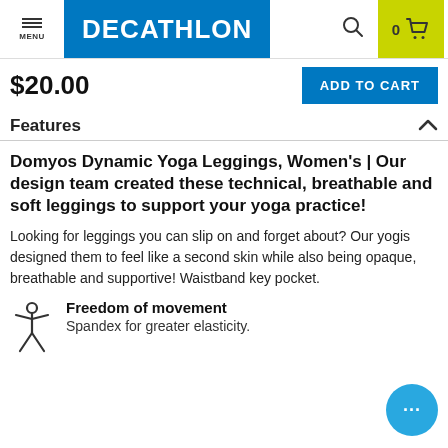MENU | DECATHLON | 0 (cart)
$20.00
ADD TO CART
Features
Domyos Dynamic Yoga Leggings, Women's | Our design team created these technical, breathable and soft leggings to support your yoga practice!
Looking for leggings you can slip on and forget about? Our yogis designed them to feel like a second skin while also being opaque, breathable and supportive! Waistband key pocket.
Freedom of movement
Spandex for greater elasticity.